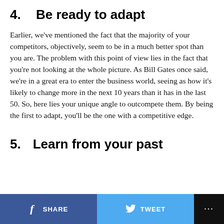4.    Be ready to adapt
Earlier, we've mentioned the fact that the majority of your competitors, objectively, seem to be in a much better spot than you are. The problem with this point of view lies in the fact that you're not looking at the whole picture. As Bill Gates once said, we're in a great era to enter the business world, seeing as how it's likely to change more in the next 10 years than it has in the last 50. So, here lies your unique angle to outcompete them. By being the first to adapt, you'll be the one with a competitive edge.
5.    Learn from your past
SHARE   TWEET   ...